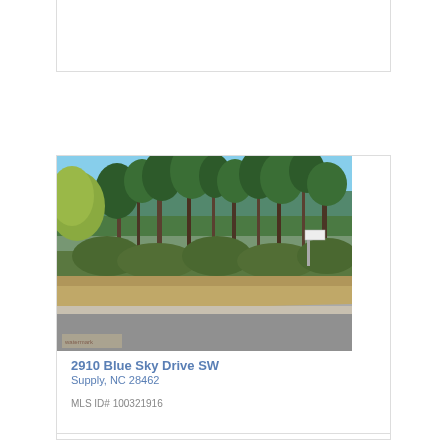[Figure (photo): Outdoor photo of a wooded vacant lot at 2910 Blue Sky Drive SW, Supply, NC. Shows tall pine trees, shrubs, and a paved road/curb in the foreground under a blue sky.]
2910 Blue Sky Drive SW
Supply, NC 28462
MLS ID# 100321916